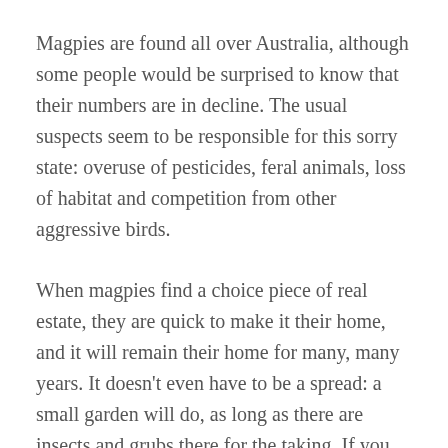Magpies are found all over Australia, although some people would be surprised to know that their numbers are in decline. The usual suspects seem to be responsible for this sorry state: overuse of pesticides, feral animals, loss of habitat and competition from other aggressive birds.
When magpies find a choice piece of real estate, they are quick to make it their home, and it will remain their home for many, many years. It doesn't even have to be a spread: a small garden will do, as long as there are insects and grubs there for the taking. If you also happen to inhabit that place, your new residents will quickly learn to recognise you and will have very little fear of